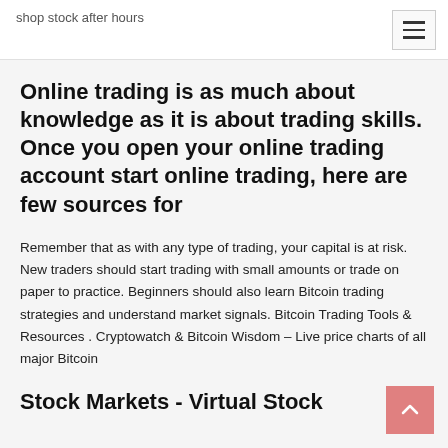shop stock after hours
Online trading is as much about knowledge as it is about trading skills. Once you open your online trading account start online trading, here are few sources for
Remember that as with any type of trading, your capital is at risk. New traders should start trading with small amounts or trade on paper to practice. Beginners should also learn Bitcoin trading strategies and understand market signals. Bitcoin Trading Tools & Resources . Cryptowatch & Bitcoin Wisdom – Live price charts of all major Bitcoin
Stock Markets - Virtual Stock